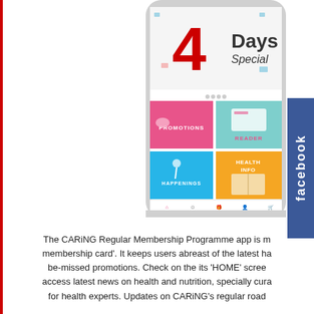[Figure (screenshot): A smartphone displaying the CARiNG pharmacy app home screen. The app shows a '4 Days Special' banner at the top in red, followed by four colored tiles: Promotions (pink), Reader (teal), Happenings (blue), and Health Info (orange). A Facebook tab is visible on the right edge of the image.]
The CARiNG Regular Membership Programme app is m membership card'. It keeps users abreast of the latest ha be-missed promotions. Check on the its 'HOME' scree access latest news on health and nutrition, specially cura for health experts. Updates on CARiNG's regular road